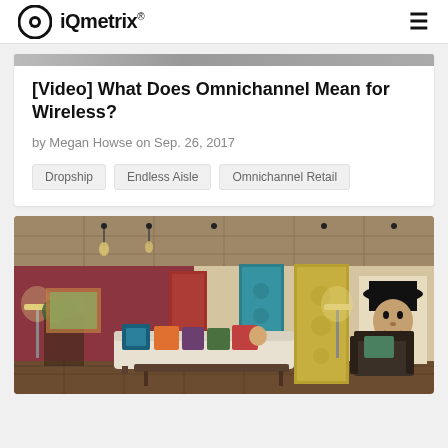iQmetrix®
[Video] What Does Omnichannel Mean for Wireless?
by Megan Howse on Sep. 26, 2017
Dropship
Endless Aisle
Omnichannel Retail
[Figure (photo): Interior photo of a decorative retail/home decor showroom with colorful tapestries, pillows, lamps, and artwork including a portrait of a man in a cowboy hat.]